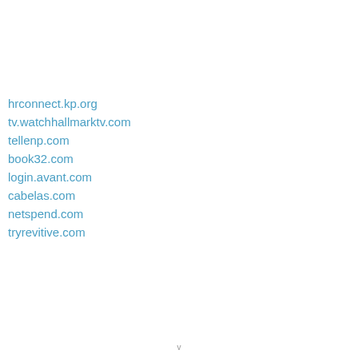hrconnect.kp.org
tv.watchhallmarktv.com
tellenp.com
book32.com
login.avant.com
cabelas.com
netspend.com
tryrevitive.com
v